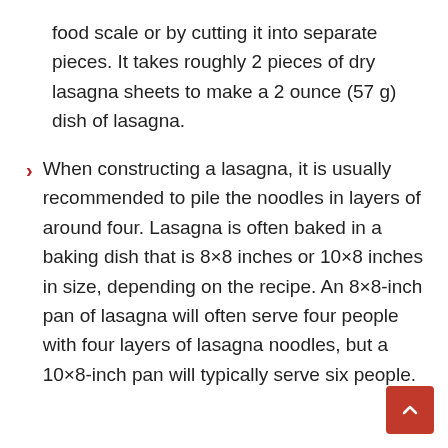food scale or by cutting it into separate pieces. It takes roughly 2 pieces of dry lasagna sheets to make a 2 ounce (57 g) dish of lasagna.
When constructing a lasagna, it is usually recommended to pile the noodles in layers of around four. Lasagna is often baked in a baking dish that is 8×8 inches or 10×8 inches in size, depending on the recipe. An 8×8-inch pan of lasagna will often serve four people with four layers of lasagna noodles, but a 10×8-inch pan will typically serve six people.